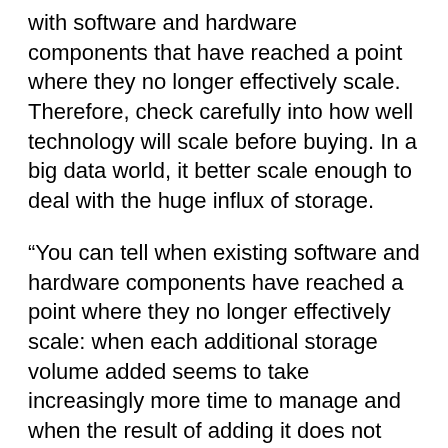with software and hardware components that have reached a point where they no longer effectively scale. Therefore, check carefully into how well technology will scale before buying. In a big data world, it better scale enough to deal with the huge influx of storage.
“You can tell when existing software and hardware components have reached a point where they no longer effectively scale: when each additional storage volume added seems to take increasingly more time to manage and when the result of adding it does not seem to add the expected volume and performance,” said Michael King, Senior Director of Marketing Strategy and Operations, DataDirect Networks (DDN).